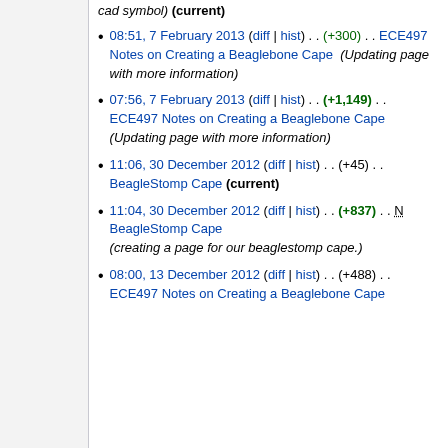cad symbol) (current)
08:51, 7 February 2013 (diff | hist) . . (+300) . . ECE497 Notes on Creating a Beaglebone Cape (Updating page with more information)
07:56, 7 February 2013 (diff | hist) . . (+1,149) . . ECE497 Notes on Creating a Beaglebone Cape (Updating page with more information)
11:06, 30 December 2012 (diff | hist) . . (+45) . . BeagleStomp Cape (current)
11:04, 30 December 2012 (diff | hist) . . (+837) . . N BeagleStomp Cape (creating a page for our beaglestomp cape.)
08:00, 13 December 2012 (diff | hist) . . (+488) . . ECE497 Notes on Creating a Beaglebone Cape